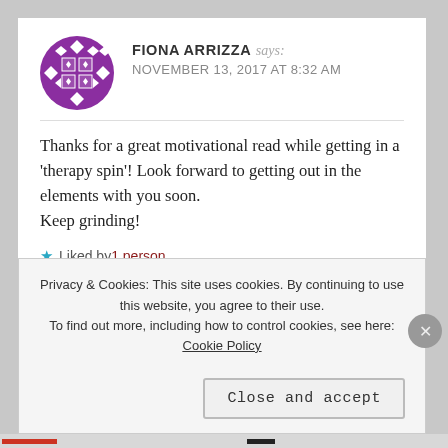FIONA ARRIZZA says: NOVEMBER 13, 2017 AT 8:32 AM
Thanks for a great motivational read while getting in a 'therapy spin'! Look forward to getting out in the elements with you soon.
Keep grinding!
★ Liked by 1 person
↩ Reply
Privacy & Cookies: This site uses cookies. By continuing to use this website, you agree to their use.
To find out more, including how to control cookies, see here: Cookie Policy
Close and accept